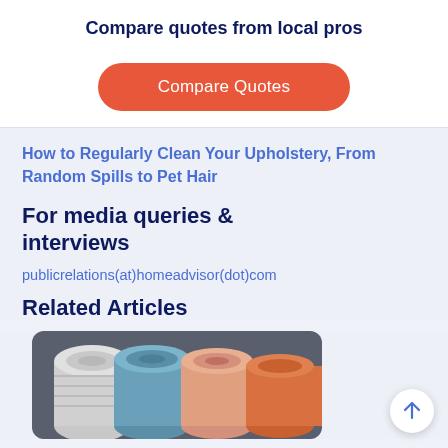Compare quotes from local pros
Compare Quotes
How to Regularly Clean Your Upholstery, From Random Spills to Pet Hair
For media queries & interviews
publicrelations(at)homeadvisor(dot)com
Related Articles
[Figure (photo): Rolled rugs or carpets in multiple colors stacked together]